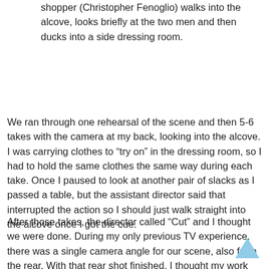shopper (Christopher Fenoglio) walks into the alcove, looks briefly at the two men and then ducks into a side dressing room.
We ran through one rehearsal of the scene and then 5-6 takes with the camera at my back, looking into the alcove. I was carrying clothes to “try on” in the dressing room, so I had to hold the same clothes the same way during each take. Once I paused to look at another pair of slacks as I passed a table, but the assistant director said that interrupted the action so I should just walk straight into the alcove once I got the cue.
After those takes, the director called “Cut” and I thought we were done. During my only previous TV experience, there was a single camera angle for our scene, also from the rear. With that rear shot finished, I thought my work was done.